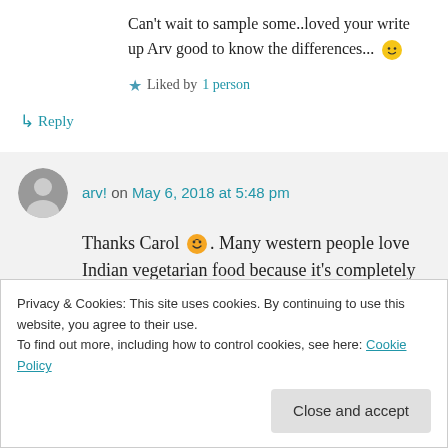Can't wait to sample some..loved your write up Arv good to know the differences... 🙂
★ Liked by 1 person
↳ Reply
arv! on May 6, 2018 at 5:48 pm
Thanks Carol 😊. Many western people love Indian vegetarian food because it's completely different from their vegetarian
Privacy & Cookies: This site uses cookies. By continuing to use this website, you agree to their use. To find out more, including how to control cookies, see here: Cookie Policy
Close and accept